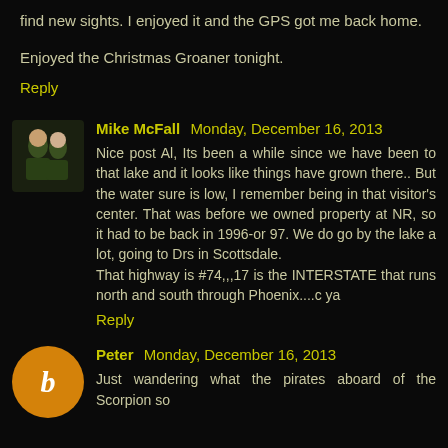find new sights. I enjoyed it and the GPS got me back home.
Enjoyed the Christmas Groaner tonight.
Reply
[Figure (photo): Profile photo of Mike McFall, two people]
Mike McFall Monday, December 16, 2013
Nice post Al, Its been a while since we have been to that lake and it looks like things have grown there.. But the water sure is low, I remember being in that visitor's center. That was before we owned property at NR, so it had to be back in 1996-or 97. We do go by the lake a lot, going to Drs in Scottsdale.
That highway is #74,,,17 is the INTERSTATE that runs north and south through Phoenix....c ya
Reply
[Figure (illustration): Orange circle with letter b (Blogger icon)]
Peter Monday, December 16, 2013
Just wandering what the pirates aboard of the Scorpion so...